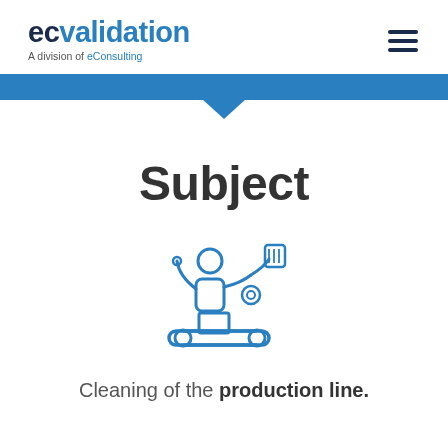[Figure (logo): ecvalidation logo — 'ec' in dark navy bold, 'validation' in blue bold, subtitle 'A division of eConsulting']
[Figure (illustration): Line-art icon of a person on a conveyor belt machine with a robotic arm, drawn in blue outline style]
Subject
Cleaning of the production line.